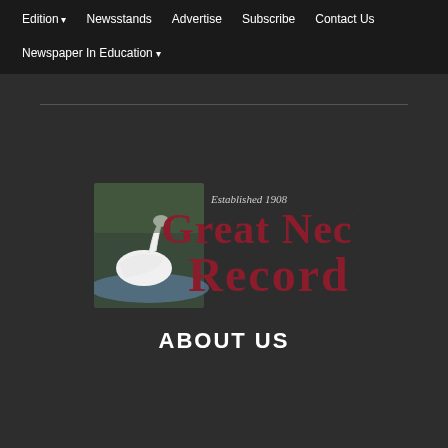Edition ▾   Newsstands   Advertise   Subscribe   Contact Us   Newspaper In Education ▾
[Figure (logo): Great Neck Record newspaper logo with swan image. Text reads 'Established 1908' above 'Great Neck Neck Record' in large dark red serif font, with a white swan on water in the lower left portion of the logo.]
ABOUT US